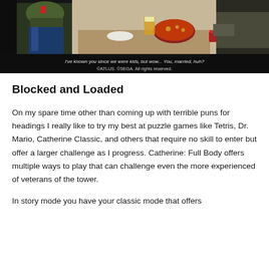[Figure (screenshot): Game screenshot from Catherine: Full Body showing characters sitting at a table with food and drinks. Subtitle text reads: I've known you since we were kids, but wow... You, married, huh? Below that: ©ATLUS. ©SEGA. All rights reserved.]
Blocked and Loaded
On my spare time other than coming up with terrible puns for headings I really like to try my best at puzzle games like Tetris, Dr. Mario, Catherine Classic, and others that require no skill to enter but offer a larger challenge as I progress. Catherine: Full Body offers multiple ways to play that can challenge even the more experienced of veterans of the tower.
In story mode you have your classic mode that offers